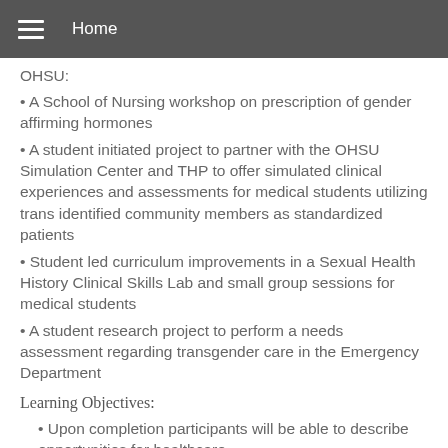Home
OHSU:
A School of Nursing workshop on prescription of gender affirming hormones
A student initiated project to partner with the OHSU Simulation Center and THP to offer simulated clinical experiences and assessments for medical students utilizing trans identified community members as standardized patients
Student led curriculum improvements in a Sexual Health History Clinical Skills Lab and small group sessions for medical students
A student research project to perform a needs assessment regarding transgender care in the Emergency Department
Learning Objectives:
Upon completion participants will be able to describe opportunities for healthcare